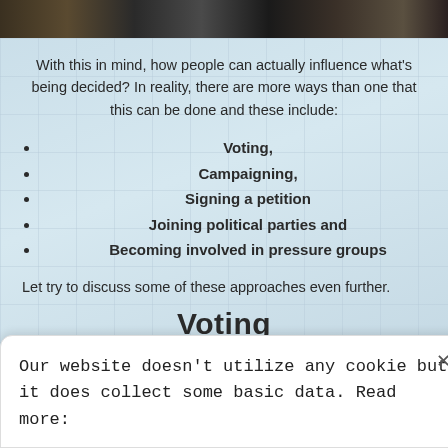[Figure (photo): Photo strip showing people in what appears to be a government or meeting setting, partially visible at the top of the page.]
With this in mind, how people can actually influence what's being decided? In reality, there are more ways than one that this can be done and these include:
Voting,
Campaigning,
Signing a petition
Joining political parties and
Becoming involved in pressure groups
Let try to discuss some of these approaches even further.
Voting
Our website doesn't utilize any cookie but it does collect some basic data. Read more: